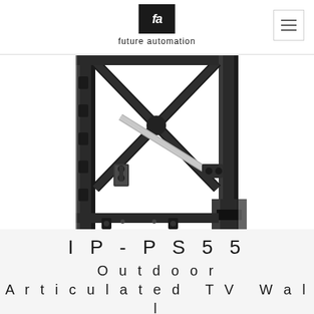future automation
[Figure (photo): Product photo of IP-PS55 outdoor articulated TV wall mount showing black metal bracket mechanism with cross-brace arms and silver actuator rod]
IP-PS55
Outdoor Articulated TV Wall Mount 55"-75"
Manual swivel bracket with